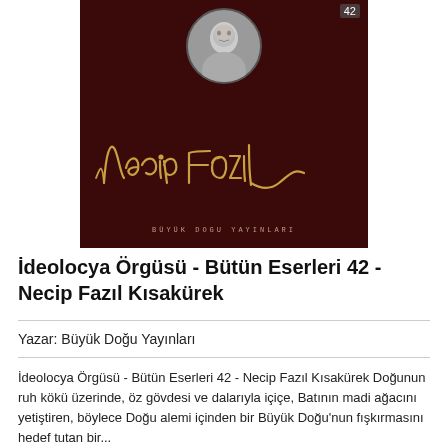[Figure (illustration): Book cover of 'İdeolocya Örgüsü - Bütün Eserleri 42 - Necip Fazıl Kısakürek'. Dark red/maroon cover with a circular author portrait at top, a stylized cursive signature in gold reading 'Necip Fazıl', and small publisher text at bottom. Number 42 shown in top-right corner.]
İdeolocya Örgüsü - Bütün Eserleri 42 - Necip Fazıl Kısakürek
Yazar: Büyük Doğu Yayınları
İdeolocya Örgüsü - Bütün Eserleri 42 - Necip Fazıl Kısakürek Doğunun ruh kökü üzerinde, öz gövdesi ve dalarıyla içiçe, Batının madi ağacını yetiştiren, böylece Doğu alemi içinden bir Büyük Doğu'nun fışkırmasını hedef tutan bir...